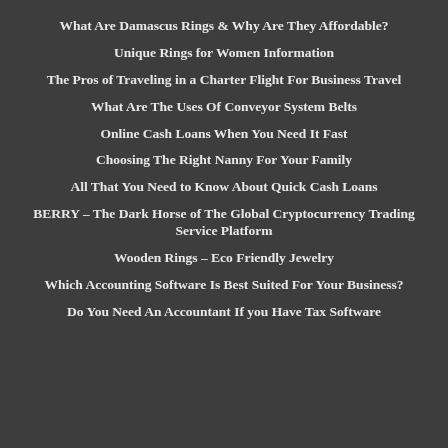What Are Damascus Rings & Why Are They Affordable?
Unique Rings for Women Information
The Pros of Traveling in a Charter Flight For Business Travel
What Are The Uses Of Conveyor System Belts
Online Cash Loans When You Need It Fast
Choosing The Right Nanny For Your Family
All That You Need to Know About Quick Cash Loans
BERRY – The Dark Horse of The Global Cryptocurrency Trading Service Platform
Wooden Rings – Eco Friendly Jewelry
Which Accounting Software Is Best Suited For Your Business?
Do You Need An Accountant If you Have Tax Software